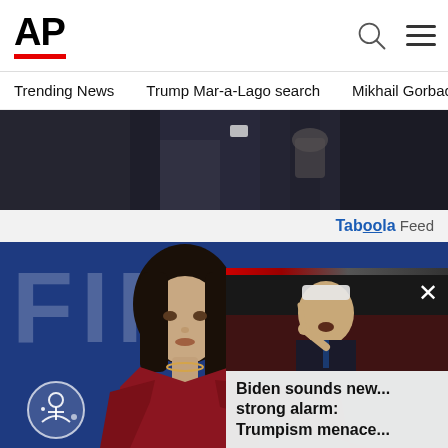AP
Trending News   Trump Mar-a-Lago search   Mikhail Gorbachev d
[Figure (photo): Dark photo of person in suit at podium, gesturing with hand]
Tab09la Feed
[Figure (photo): Young woman with dark hair and bangs in red outfit against blue background with FIN text; video overlay shows Biden pointing with caption 'Biden sounds new... strong alarm: Trumpism menace...']
Biden sounds new... strong alarm: Trumpism menace...